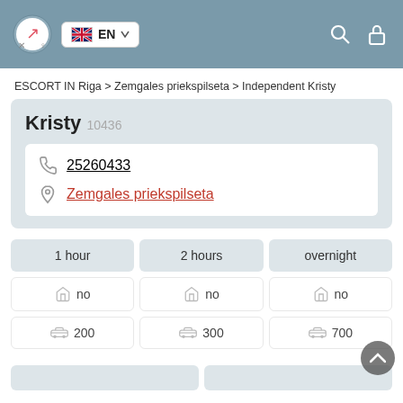EN (language selector) | Search | Lock icons
ESCORT IN Riga > Zemgales priekspilseta > Independent Kristy
Kristy 10436
25260433
Zemgales priekspilseta
| 1 hour | 2 hours | overnight |
| --- | --- | --- |
| no | no | no |
| 200 | 300 | 700 |